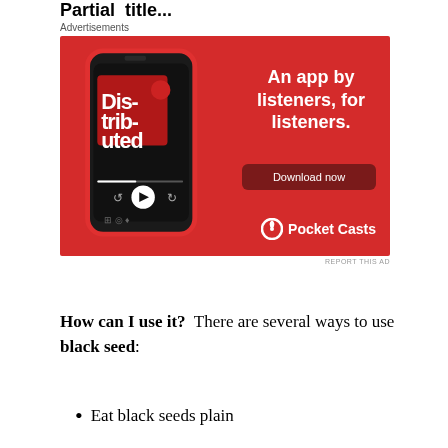Partial title (truncated)
[Figure (photo): Pocket Casts advertisement banner on red background showing a smartphone displaying a podcast app with text 'An app by listeners, for listeners.' and a 'Download now' button with the Pocket Casts logo.]
Advertisements
How can I use it?  There are several ways to use black seed:
Eat black seeds plain